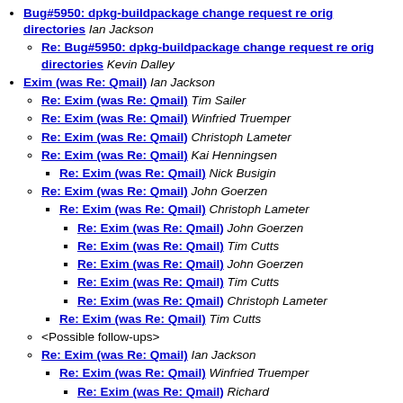Bug#5950: dpkg-buildpackage change request re orig directories Ian Jackson
Re: Bug#5950: dpkg-buildpackage change request re orig directories Kevin Dalley
Exim (was Re: Qmail) Ian Jackson
Re: Exim (was Re: Qmail) Tim Sailer
Re: Exim (was Re: Qmail) Winfried Truemper
Re: Exim (was Re: Qmail) Christoph Lameter
Re: Exim (was Re: Qmail) Kai Henningsen
Re: Exim (was Re: Qmail) Nick Busigin
Re: Exim (was Re: Qmail) John Goerzen
Re: Exim (was Re: Qmail) Christoph Lameter
Re: Exim (was Re: Qmail) John Goerzen
Re: Exim (was Re: Qmail) Tim Cutts
Re: Exim (was Re: Qmail) John Goerzen
Re: Exim (was Re: Qmail) Tim Cutts
Re: Exim (was Re: Qmail) Christoph Lameter
Re: Exim (was Re: Qmail) Tim Cutts
<Possible follow-ups>
Re: Exim (was Re: Qmail) Ian Jackson
Re: Exim (was Re: Qmail) Winfried Truemper
Re: Exim (was Re: Qmail) Richard